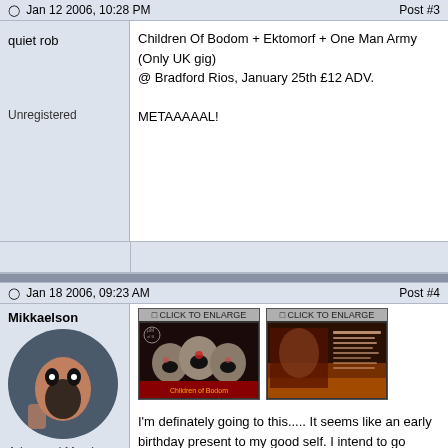quiet rob
Jan 12 2006, 10:28 PM  Post #3
Unregistered
Children Of Bodom + Ektomorf + One Man Army (Only UK gig)
@ Bradford Rios, January 25th £12 ADV.

METAAAAL!
Mikkaelson
Jan 18 2006, 09:23 AM  Post #4
[Figure (screenshot): Two thumbnail images with CLICK TO ENLARGE labels: left shows skulls artwork (Bodom album art), right shows a concert/event listing flyer]
Advanced Member
Group: Members
Posts: 1,078
Joined: 17-December 05
I'm definately going to this..... It seems like an early birthday present to my good self. I intend to go ballistic to some of the most evil gabba ever played on these shores......If you like Death